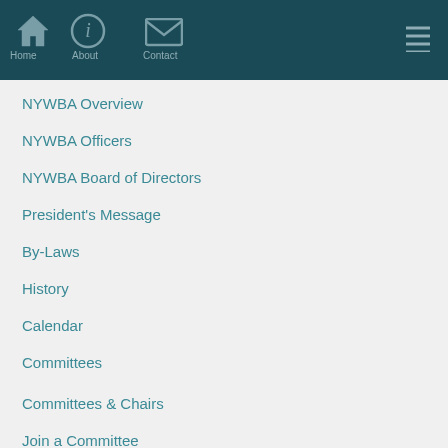Home   About   Contact
NYWBA Overview
NYWBA Officers
NYWBA Board of Directors
President's Message
By-Laws
History
Calendar
Committees
Committees & Chairs
Join a Committee